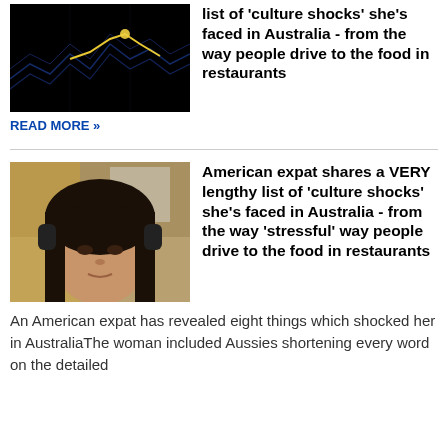[Figure (photo): Dark background image with yellow and blue wave/line graph visualisation]
list of 'culture shocks' she's faced in Australia - from the way people drive to the food in restaurants
READ MORE »
[Figure (photo): Young woman wearing black headphones, photographed outdoors in front of a colourful wall]
American expat shares a VERY lengthy list of 'culture shocks' she's faced in Australia - from the way 'stressful' way people drive to the food in restaurants
An American expat has revealed eight things which shocked her in AustraliaThe woman included Aussies shortening every word on the detailed